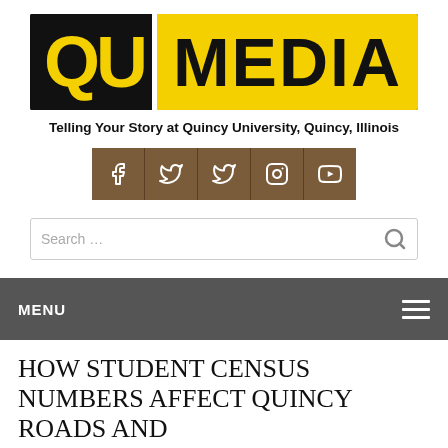[Figure (logo): QU Media logo — black background with yellow 'QU' text and yellow background with black 'MEDIA' text]
Telling Your Story at Quincy University, Quincy, Illinois
[Figure (infographic): Row of five social media icon buttons (Facebook, Twitter, Twitter, Instagram, YouTube) in brown/tan square buttons]
Search …
MENU
HOW STUDENT CENSUS NUMBERS AFFECT QUINCY ROADS AND